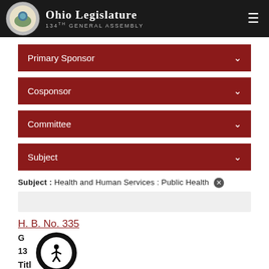Ohio Legislature 134th General Assembly
Primary Sponsor
Cosponsor
Committee
Subject
Subject : Health and Human Services : Public Health
H. B. No. 335
G
134
Title